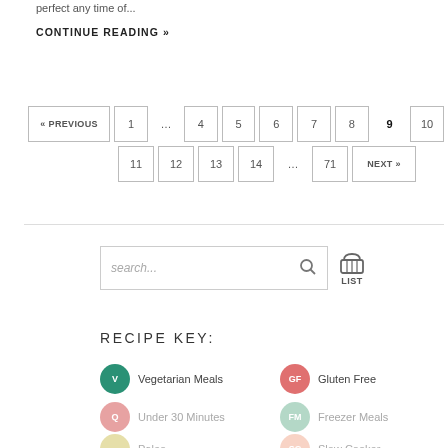perfect any time of...
CONTINUE READING »
« PREVIOUS  1  ...  4  5  6  7  8  9  10  11  12  13  14  ...  71  NEXT »
[Figure (other): Search input box with search icon and LIST basket icon]
RECIPE KEY:
V  Vegetarian Meals
GF  Gluten Free
Q  Under 30 Minutes
FM  Freezer Meals
Paleo
SC  Slow Cooker